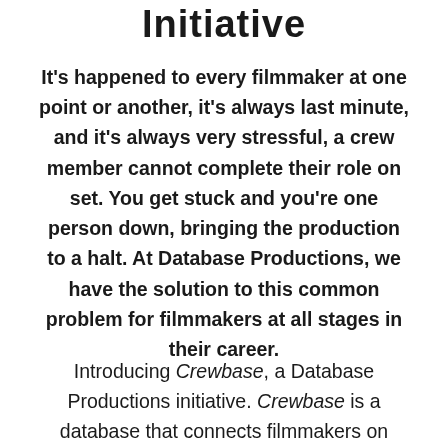Initiative
It's happened to every filmmaker at one point or another, it's always last minute, and it's always very stressful, a crew member cannot complete their role on set. You get stuck and you're one person down, bringing the production to a halt. At Database Productions, we have the solution to this common problem for filmmakers at all stages in their career.
Introducing Crewbase, a Database Productions initiative. Crewbase is a database that connects filmmakers on